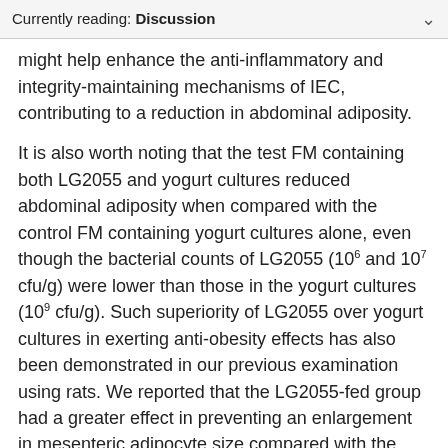Currently reading: Discussion
might help enhance the anti-inflammatory and integrity-maintaining mechanisms of IEC, contributing to a reduction in abdominal adiposity.
It is also worth noting that the test FM containing both LG2055 and yogurt cultures reduced abdominal adiposity when compared with the control FM containing yogurt cultures alone, even though the bacterial counts of LG2055 (10^6 and 10^7 cfu/g) were lower than those in the yogurt cultures (10^9 cfu/g). Such superiority of LG2055 over yogurt cultures in exerting anti-obesity effects has also been demonstrated in our previous examination using rats. We reported that the LG2055-fed group had a greater effect in preventing an enlargement in mesenteric adipocyte size compared with the yogurt culture group^(7). Further investigation is